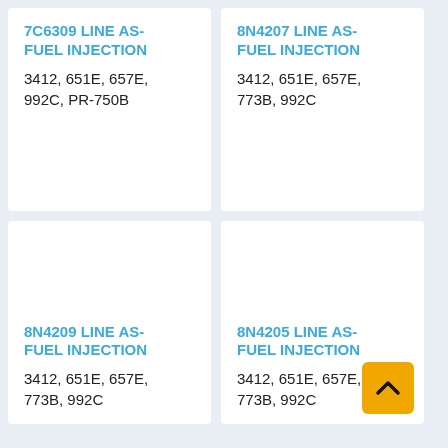7C6309 LINE AS-FUEL INJECTION
3412, 651E, 657E, 992C, PR-750B
8N4207 LINE AS-FUEL INJECTION
3412, 651E, 657E, 773B, 992C
8N4209 LINE AS-FUEL INJECTION
3412, 651E, 657E, 773B, 992C
8N4205 LINE AS-FUEL INJECTION
3412, 651E, 657E, 773B, 992C